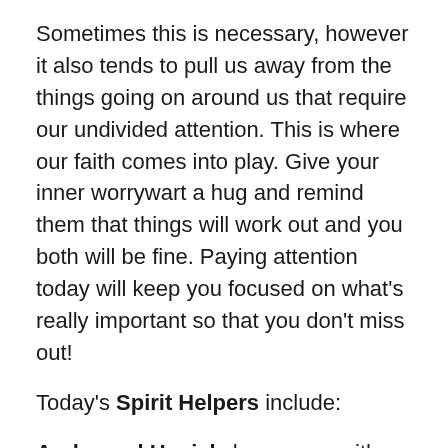Sometimes this is necessary, however it also tends to pull us away from the things going on around us that require our undivided attention. This is where our faith comes into play. Give your inner worrywart a hug and remind them that things will work out and you both will be fine. Paying attention today will keep you focused on what's really important so that you don't miss out!
Today's Spirit Helpers include:
Archangel Haniel showers us with stardust, illuminating our thoughts and memories so that we can remember what magickal beings we truly are, which assists us in the creation process. In turn, this shows us how to receive with grace and gratitude. This process accelerates when we allow beauty and harmony to surround us. It' helps us to enjoy ourselves which makes blessings easier to